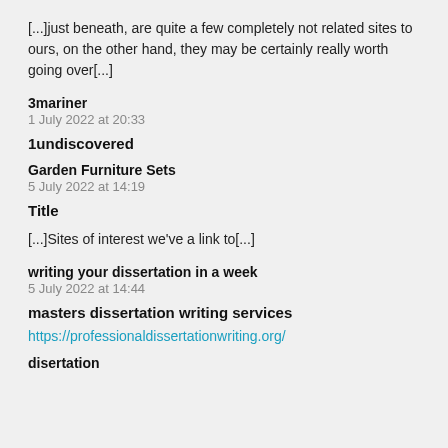[...]just beneath, are quite a few completely not related sites to ours, on the other hand, they may be certainly really worth going over[...]
3mariner
1 July 2022 at 20:33
1undiscovered
Garden Furniture Sets
5 July 2022 at 14:19
Title
[...]Sites of interest we've a link to[...]
writing your dissertation in a week
5 July 2022 at 14:44
masters dissertation writing services
https://professionaldissertationwriting.org/
disertation